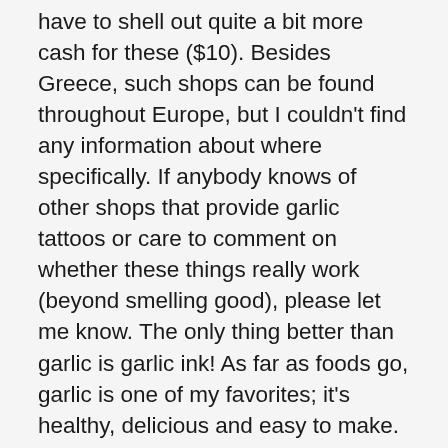have to shell out quite a bit more cash for these ($10). Besides Greece, such shops can be found throughout Europe, but I couldn't find any information about where specifically. If anybody knows of other shops that provide garlic tattoos or care to comment on whether these things really work (beyond smelling good), please let me know. The only thing better than garlic is garlic ink! As far as foods go, garlic is one of my favorites; it's healthy, delicious and easy to make. There's nothing like getting your daily dose of vitamins with food! This is great news for all you artists out there who are into tattoos; if garlic makes your skin healthier, then why not get it tatted? It might sound silly now, but just wait until everyone catches on to how much better they feel after eating garlic! And what better way to do so than with a little ink? No matter how old we get, people will still judge us by our appearance first and foremost;